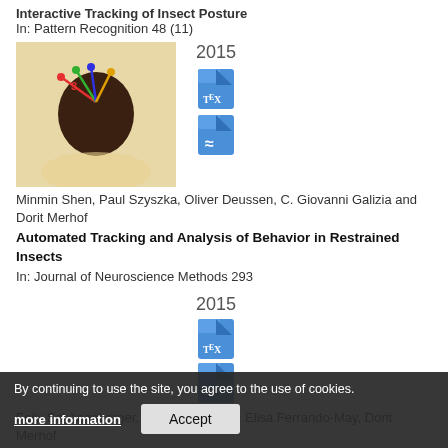Interactive Tracking of Insect Posture
In: Pattern Recognition 48 (11)
[Figure (photo): Thumbnail image of a restrained insect being tracked, showing colored tracking markers on insect head against beige/cream background.]
2015
[Figure (other): TeX file icon (blue document icon with TeX label)]
[Figure (other): PDF file icon (blue document icon with PDF/Acrobat symbol)]
Minmin Shen, Paul Szyszka, Oliver Deussen, C. Giovanni Galizia and Dorit Merhof
Automated Tracking and Analysis of Behavior in Restrained Insects
In: Journal of Neuroscience Methods 293
2015
[Figure (other): TeX file icon (blue document icon with TeX label)]
[Figure (other): PDF file icon (blue document icon with PDF/Acrobat symbol)]
Felix Schönenberger, Anja Deutzmann, Elisa Ferrando-May, Dorit Merhof
Discrimination of cell cycle phases in PCNA-immunolabeled cells
In: BMC Bioinformatics 16 (180)
By continuing to use the site, you agree to the use of cookies.
more information
Accept